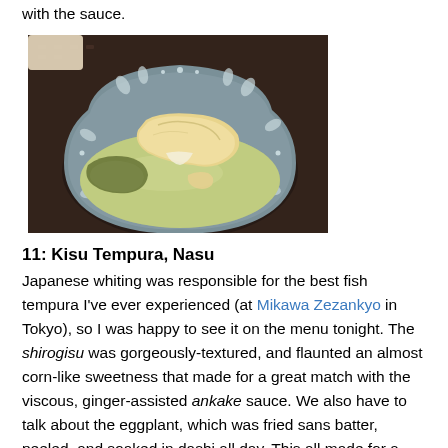with the sauce.
[Figure (photo): A decorative ceramic bowl with intricate floral/leaf patterns in blue-grey, containing tempura fish (kisu/whiting) and eggplant pieces in ankake sauce, placed on a dark woven surface.]
11: Kisu Tempura, Nasu
Japanese whiting was responsible for the best fish tempura I've ever experienced (at Mikawa Zezankyo in Tokyo), so I was happy to see it on the menu tonight. The shirogisu was gorgeously-textured, and flaunted an almost corn-like sweetness that made for a great match with the viscous, ginger-assisted ankake sauce. We also have to talk about the eggplant, which was fried sans batter, peeled, and soaked in dashi all day. This all made for a "juicy" prepration of the vegetable, one that was again one of the best I've had, and worked easily as a contrast to the kisu.